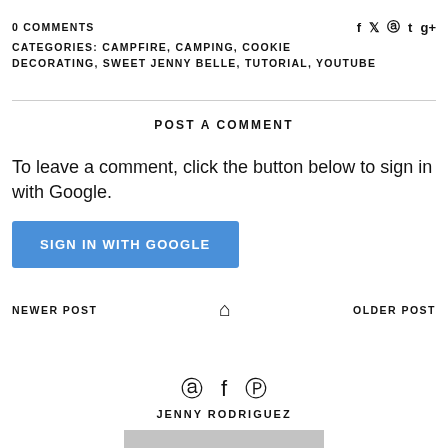0 COMMENTS
CATEGORIES: CAMPFIRE, CAMPING, COOKIE DECORATING, SWEET JENNY BELLE, TUTORIAL, YOUTUBE
POST A COMMENT
To leave a comment, click the button below to sign in with Google.
SIGN IN WITH GOOGLE
NEWER POST
OLDER POST
JENNY RODRIGUEZ